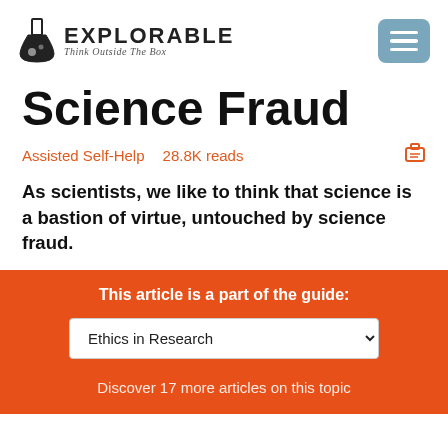EXPLORABLE Think Outside The Box
Science Fraud
Assisted Self-Help   28.8K reads
As scientists, we like to think that science is a bastion of virtue, untouched by science fraud.
This article is a part of the guide:
Ethics in Research
Discover 17 more articles on this topic